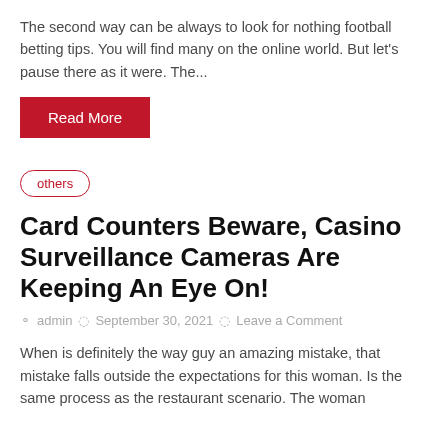The second way can be always to look for nothing football betting tips. You will find many on the online world. But let's pause there as it were. The...
Read More
others
Card Counters Beware, Casino Surveillance Cameras Are Keeping An Eye On!
admin  September 30, 2021  Leave a Comment
When is definitely the way guy an amazing mistake, that mistake falls outside the expectations for this woman. Is the same process as the restaurant scenario. The woman